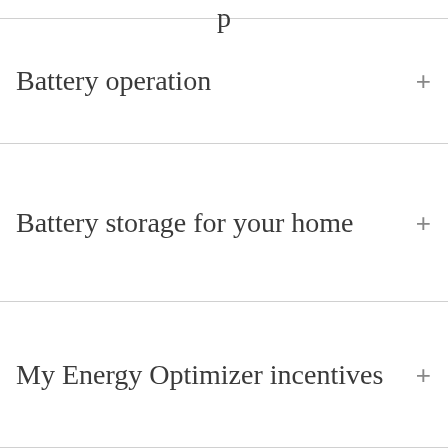Battery operation
Battery storage for your home
My Energy Optimizer incentives